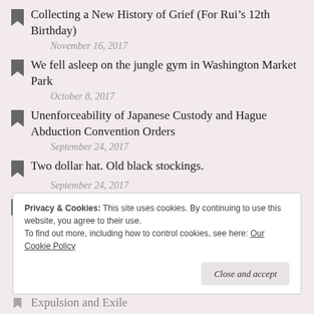Collecting a New History of Grief (For Rui's 12th Birthday)
November 16, 2017
We fell asleep on the jungle gym in Washington Market Park
October 8, 2017
Unenforceability of Japanese Custody and Hague Abduction Convention Orders
September 24, 2017
Two dollar hat. Old black stockings.
September 24, 2017
So all souls can see it
Privacy & Cookies: This site uses cookies. By continuing to use this website, you agree to their use.
To find out more, including how to control cookies, see here: Our Cookie Policy
Expulsion and Exile